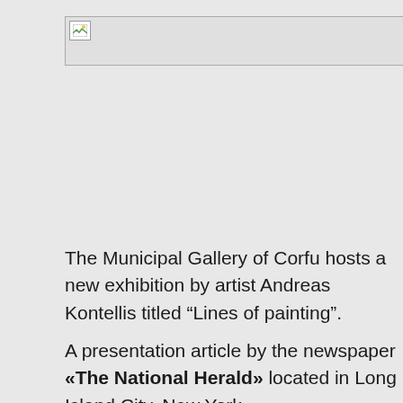[Figure (other): Broken/missing image placeholder with small image icon in top-left corner, wide horizontal rectangle]
The Municipal Gallery of Corfu hosts a new exhibition by artist Andreas Kontellis titled “Lines of painting”.
A presentation article by the newspaper «The National Herald» located in Long Island City, New York